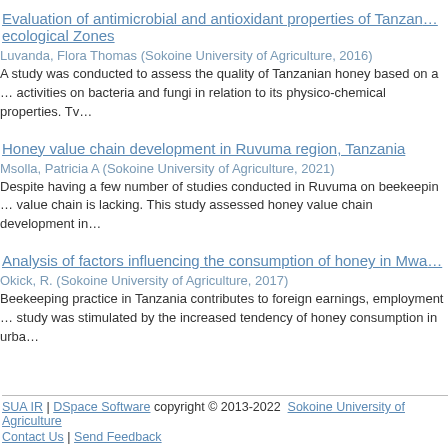Evaluation of antimicrobial and antioxidant properties of Tanzanian honey from different ecological Zones
Luvanda, Flora Thomas (Sokoine University of Agriculture, 2016)
A study was conducted to assess the quality of Tanzanian honey based on antimicrobial activities on bacteria and fungi in relation to its physico-chemical properties. Tv...
Honey value chain development in Ruvuma region, Tanzania
Msolla, Patricia A (Sokoine University of Agriculture, 2021)
Despite having a few number of studies conducted in Ruvuma on beekeeping, a study on honey value chain is lacking. This study assessed honey value chain development in...
Analysis of factors influencing the consumption of honey in Mwa...
Okick, R. (Sokoine University of Agriculture, 2017)
Beekeeping practice in Tanzania contributes to foreign earnings, employment... study was stimulated by the increased tendency of honey consumption in urba...
SUA IR | DSpace Software copyright © 2013-2022 Sokoine University of Agriculture
Contact Us | Send Feedback